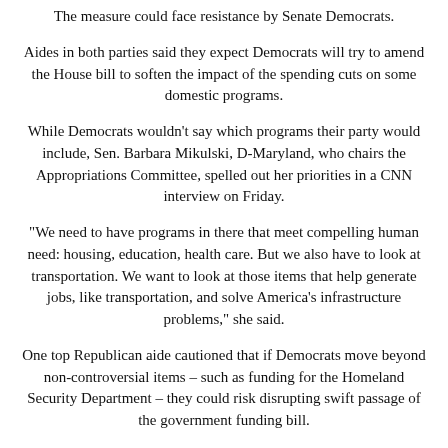The measure could face resistance by Senate Democrats.
Aides in both parties said they expect Democrats will try to amend the House bill to soften the impact of the spending cuts on some domestic programs.
While Democrats wouldn't say which programs their party would include, Sen. Barbara Mikulski, D-Maryland, who chairs the Appropriations Committee, spelled out her priorities in a CNN interview on Friday.
"We need to have programs in there that meet compelling human need: housing, education, health care. But we also have to look at transportation. We want to look at those items that help generate jobs, like transportation, and solve America's infrastructure problems," she said.
One top Republican aide cautioned that if Democrats move beyond non-controversial items – such as funding for the Homeland Security Department – they could risk disrupting swift passage of the government funding bill.
Democrats in the House also expressed concerns.
Rep Nita Lowey, D-New York, the top Democrat on the House spending panel, said she supported the military spending plans, but